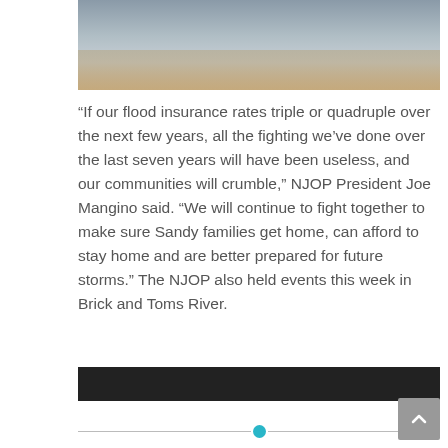[Figure (photo): Partial photo strip at top showing a waterscape or flooded scene with muted gray-blue tones and a reflective brown/sandy bottom edge.]
“If our flood insurance rates triple or quadruple over the next few years, all the fighting we’ve done over the last seven years will have been useless, and our communities will crumble,” NJOP President Joe Mangino said. “We will continue to fight together to make sure Sandy families get home, can afford to stay home and are better prepared for future storms.” The NJOP also held events this week in Brick and Toms River.